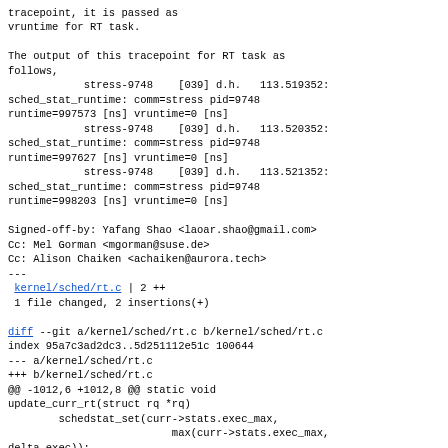tracepoint, it is passed as vruntime for RT task.

The output of this tracepoint for RT task as follows,
            stress-9748    [039] d.h.   113.519352: sched_stat_runtime: comm=stress pid=9748 runtime=997573 [ns] vruntime=0 [ns]
            stress-9748    [039] d.h.   113.520352: sched_stat_runtime: comm=stress pid=9748 runtime=997627 [ns] vruntime=0 [ns]
            stress-9748    [039] d.h.   113.521352: sched_stat_runtime: comm=stress pid=9748 runtime=998203 [ns] vruntime=0 [ns]

Signed-off-by: Yafang Shao <laoar.shao@gmail.com>
Cc: Mel Gorman <mgorman@suse.de>
Cc: Alison Chaiken <achaiken@aurora.tech>
---
 kernel/sched/rt.c | 2 ++
 1 file changed, 2 insertions(+)

diff --git a/kernel/sched/rt.c b/kernel/sched/rt.c
index 95a7c3ad2dc3..5d251112e51c 100644
--- a/kernel/sched/rt.c
+++ b/kernel/sched/rt.c
@@ -1012,6 +1012,8 @@ static void update_curr_rt(struct rq *rq)
        schedstat_set(curr->stats.exec_max,
                          max(curr->stats.exec_max,
 delta_exec));